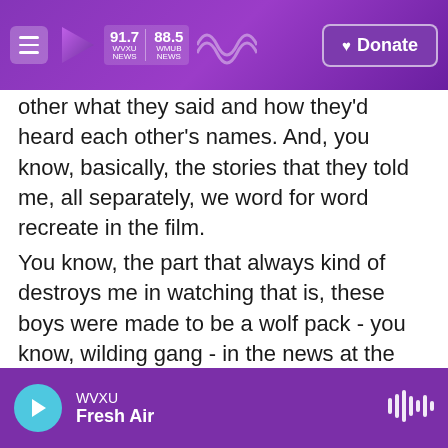WVXU 91.7 NEWS | WMUB 88.5 NEWS | Donate
other what they said and how they'd heard each other's names. And, you know, basically, the stories that they told me, all separately, we word for word recreate in the film.
You know, the part that always kind of destroys me in watching that is, these boys were made to be a wolf pack - you know, wilding gang - in the news at the very same time that they're in a room just meeting each other. And so, you know, they're - the revelation of what they had done and incriminating one another through being fed each other's names by police, you know, came to light when they were
WVXU Fresh Air